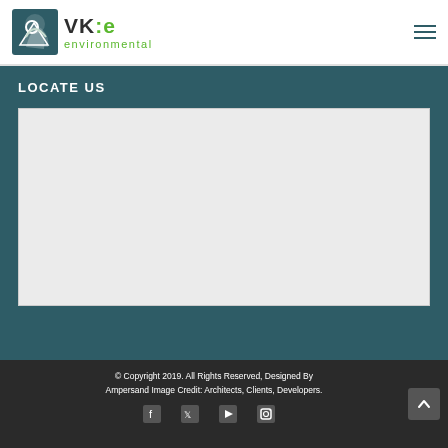[Figure (logo): VK:e environmental company logo with abstract bird/people icon in teal, text 'VK:e' in dark grey with green colon-e, and 'environmental' in green below]
[Figure (other): Hamburger menu icon (three horizontal lines) in teal/dark color on the right side of the header]
LOCATE US
[Figure (map): Map placeholder area shown as light grey rectangle]
© Copyright 2019. All Rights Reserved, Designed By Ampersand Image Credit: Architects, Clients, Developers.
[Figure (other): Social media icons: Facebook, Twitter, YouTube, Instagram]